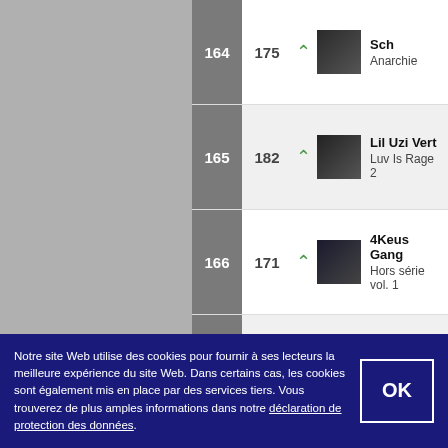| Rank | Prev | Trend | Cover | Artist / Album |
| --- | --- | --- | --- | --- |
| 164 | 175 | ▲ |  | Sch / Anarchie |
| 165 | 182 | ▲ |  | Lil Uzi Vert / Luv Is Rage 2 |
| 166 | 171 | ▲ |  | 4Keus Gang / Hors série vol. 1 |
| 167 | 199 | ▲ |  | Ben Mazué / La femme idéale |
| 168 | 139 | ▼ |  | Kids United / Un monde meilleur / Au bonheur du monde |
| 169 | 142 | ▼ |  | Keen'V / 7 |
| 170 | ... | ... |  | Caballero & JeanJa / Double hélice 2 |
Notre site Web utilise des cookies pour fournir à ses lecteurs la meilleure expérience du site Web. Dans certains cas, les cookies sont également mis en place par des services tiers. Vous trouverez de plus amples informations dans notre déclaration de protection des données.